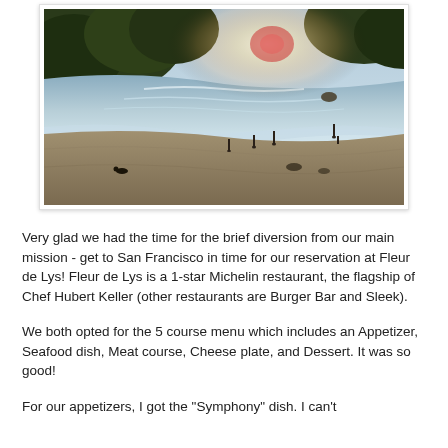[Figure (photo): Aerial or elevated view of a beach cove with ocean waves, sandy shore, people walking, and a tree-covered hillside in the background. The photo has a bright sun glare on the water.]
Very glad we had the time for the brief diversion from our main mission - get to San Francisco in time for our reservation at Fleur de Lys!  Fleur de Lys is a 1-star Michelin restaurant, the flagship of Chef Hubert Keller (other restaurants are Burger Bar and Sleek).
We both opted for the 5 course menu which includes an Appetizer, Seafood dish, Meat course, Cheese plate, and Dessert.  It was so good!
For our appetizers, I got the "Symphony" dish.  I can't